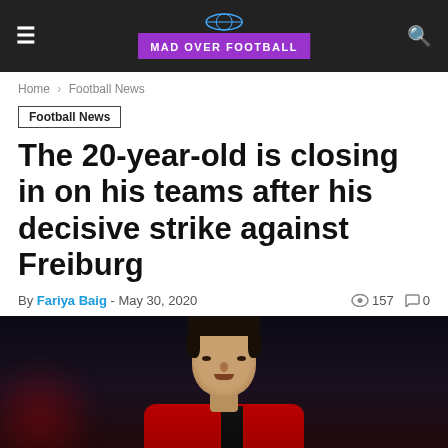MAD OVER FOOTBALL
Home › Football News
Football News
The 20-year-old is closing in on his teams after his decisive strike against Freiburg
By Fariya Baig - May 30, 2020  157  0
[Figure (photo): Young male footballer in red and black jersey, close-up portrait against dark background]